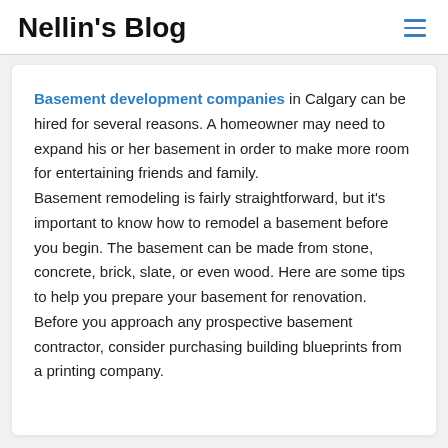Nellin's Blog
Basement development companies in Calgary can be hired for several reasons. A homeowner may need to expand his or her basement in order to make more room for entertaining friends and family.
Basement remodeling is fairly straightforward, but it's important to know how to remodel a basement before you begin. The basement can be made from stone, concrete, brick, slate, or even wood. Here are some tips to help you prepare your basement for renovation.
Before you approach any prospective basement contractor, consider purchasing building blueprints from a printing company.